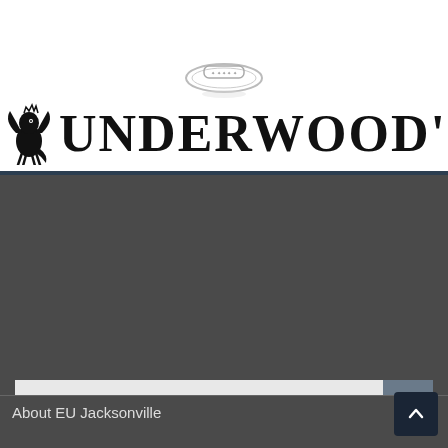[Figure (photo): Small product image at top — appears to be jewelry/rings in silver/crystal]
[Figure (logo): Underwood's logo with griffin icon on the left and large stylized text UNDERWOOD'S in black art-deco style]
[Figure (other): Search bar with text input field and blue-grey search button with magnifying glass icon]
FOLLOW EU!
[Figure (infographic): Row of 5 social media icon buttons: RSS (orange), Facebook (blue), Twitter (light blue), Pinterest (red), Instagram (light blue)]
About EU Jacksonville